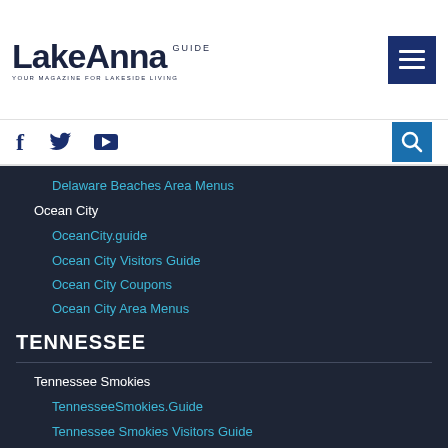LakeAnna GUIDE — YOUR MAGAZINE FOR LAKESIDE LIVING
Delaware Beaches Area Menus
Ocean City
OceanCity.guide
Ocean City Visitors Guide
Ocean City Coupons
Ocean City Area Menus
TENNESSEE
Tennessee Smokies
TennesseeSmokies.Guide
Tennessee Smokies Visitors Guide